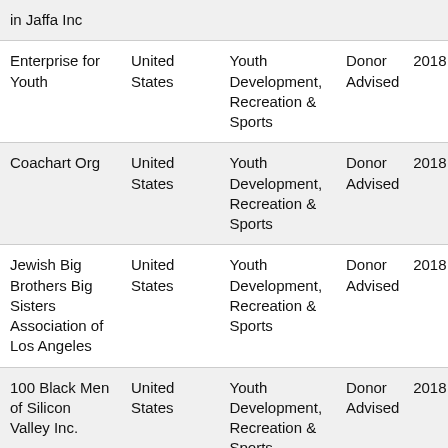| in Jaffa Inc |  |  |  |  |
| Enterprise for Youth | United States | Youth Development, Recreation & Sports | Donor Advised | 2018 |
| Coachart Org | United States | Youth Development, Recreation & Sports | Donor Advised | 2018 |
| Jewish Big Brothers Big Sisters Association of Los Angeles | United States | Youth Development, Recreation & Sports | Donor Advised | 2018 |
| 100 Black Men of Silicon Valley Inc. | United States | Youth Development, Recreation & Sports | Donor Advised | 2018 |
| Enterprise for Youth | United States | Youth Development, Recreation & Sports | Donor Advised | 2018 |